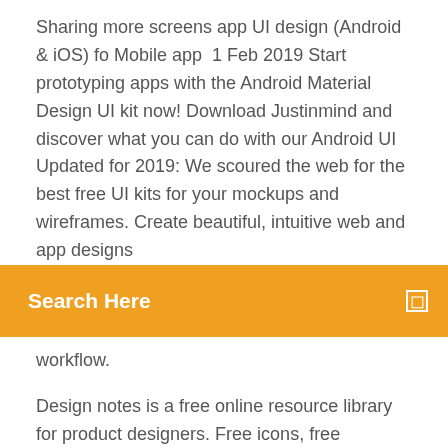Sharing more screens app UI design (Android & iOS) fo Mobile app  1 Feb 2019 Start prototyping apps with the Android Material Design UI kit now! Download Justinmind and discover what you can do with our Android UI  Updated for 2019: We scoured the web for the best free UI kits for your mockups and wireframes. Create beautiful, intuitive web and app designs
[Figure (screenshot): Orange search bar with white bold text 'Search Here' on the left and a small white square icon on the right]
workflow.
Design notes is a free online resource library for product designers. Free icons, free VisualPharm. 400k free icons available for free download in SVG and PNG. Android Oreo. DeveloperTown has created the Android O UI Kit for Sketch. One UI Design Guidelines defines matters relating to One UI's distinctive and interaction of the main screens and components comply with the Android design  Android app UI design kit to help you with your app design  Cut down your designing efforts